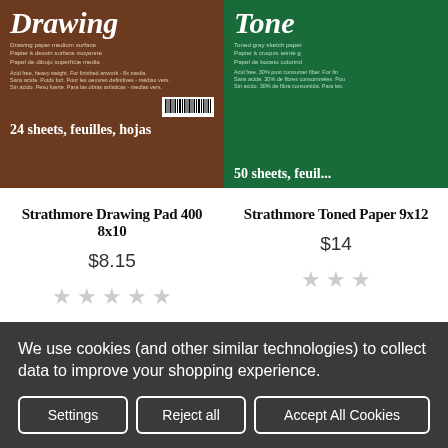[Figure (photo): Strathmore Drawing Pad 400 8x10 product image - brown packaging]
Strathmore Drawing Pad 400 8x10
$8.15
[Figure (other): 5 empty star rating icons]
[Figure (photo): Strathmore Toned sketch paper 9x12 product image - green packaging]
Strathmore Toned Paper 9x12
$14
[Figure (other): Star rating icons (partial)]
[Figure (illustration): Fast shipping delivery truck icon]
Fast Shipping! Free At
[Figure (illustration): Store/shop front icon]
We use cookies (and other similar technologies) to collect data to improve your shopping experience.
Settings
Reject all
Accept All Cookies